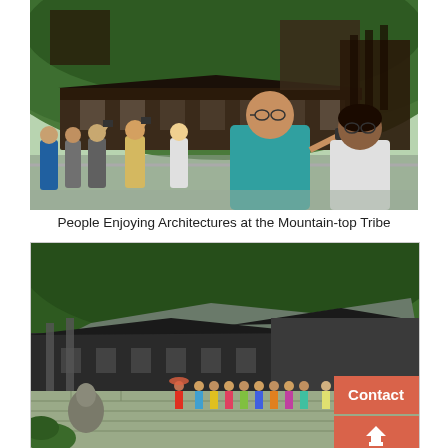[Figure (photo): Tourists standing at a railing taking photos of traditional wooden mountain-top tribe architecture on a forested hillside. Multiple people with cameras photographing the buildings built into the green mountain.]
People Enjoying Architectures at the Mountain-top Tribe
[Figure (photo): Traditional Chinese village architecture with stone walls and dark-roofed wooden buildings nestled against a steep forested mountain. A line of performers in colorful traditional dress stand on a stone terrace/wall. A 'Contact' button overlay with an upward arrow is visible in the lower right corner.]